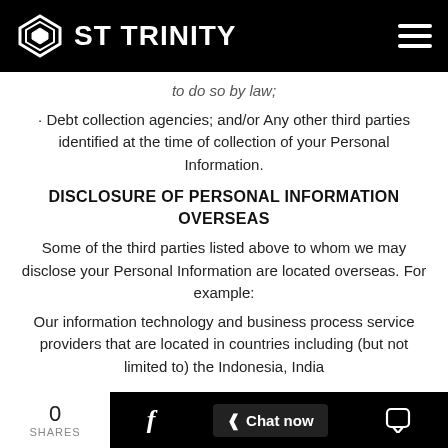ST TRINITY
to do so by law;
· Debt collection agencies; and/or Any other third parties identified at the time of collection of your Personal Information.
DISCLOSURE OF PERSONAL INFORMATION OVERSEAS
Some of the third parties listed above to whom we may disclose your Personal Information are located overseas. For example:
Our information technology and business process service providers that are located in countries including (but not limited to) the Indonesia, India
0 SHARES  Chat now